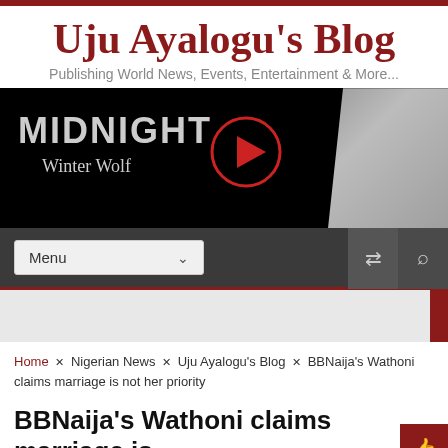Uju Ayalogu's Blog
Publishing World News, Events, Entertainment & More...
[Figure (illustration): MIDNIGHT Winter Wolf banner with play button and female model with white/silver hair on black background]
Menu
Home × Nigerian News × Uju Ayalogu's Blog × BBNaija's Wathoni claims marriage is not her priority
BBNaija's Wathoni claims marriage is